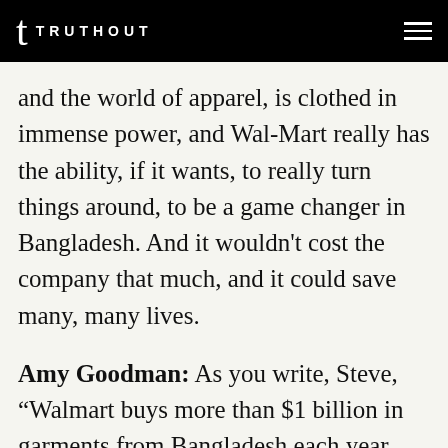TRUTHOUT
and the world of apparel, is clothed in immense power, and Wal-Mart really has the ability, if it wants, to really turn things around, to be a game changer in Bangladesh. And it wouldn't cost the company that much, and it could save many, many lives.
Amy Goodman: As you write, Steve, "Walmart buys more than $1 billion in garments from Bangladesh each year, attracted by the country's $37-a-month minimum wage, the lowest in the world." Thirty-seven dollars a month. What